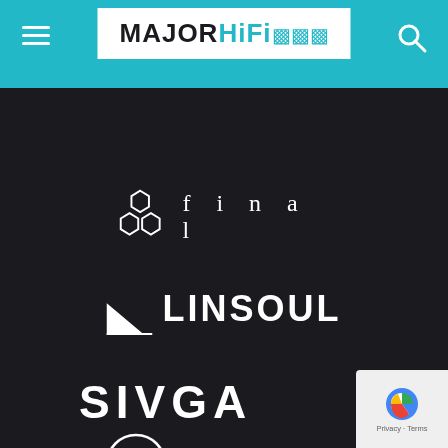MAJORHiFi (navigation header with menu icon and search icon)
[Figure (logo): final audio brand logo with hexagonal honeycomb icon and spaced lowercase text 'f i n a l']
[Figure (logo): Linsoul brand logo with geometric arrow/triangle icon and bold uppercase LINSOUL text]
[Figure (logo): SIVGA brand logo in bold uppercase letters with stylized V]
[Figure (logo): Strauss & Wagner brand logo with circular S&W badge and serif text Strauss&Wagner]
[Figure (logo): Ultrasone brand logo with stylized E icon and bold uppercase ULTRASONE text]